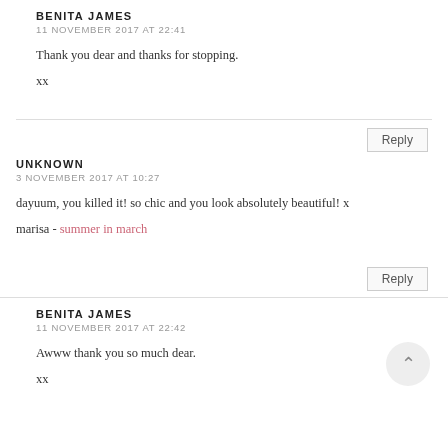BENITA JAMES
11 NOVEMBER 2017 AT 22:41
Thank you dear and thanks for stopping.
xx
Reply
UNKNOWN
3 NOVEMBER 2017 AT 10:27
dayuum, you killed it! so chic and you look absolutely beautiful! x
marisa - summer in march
Reply
BENITA JAMES
11 NOVEMBER 2017 AT 22:42
Awww thank you so much dear.
xx